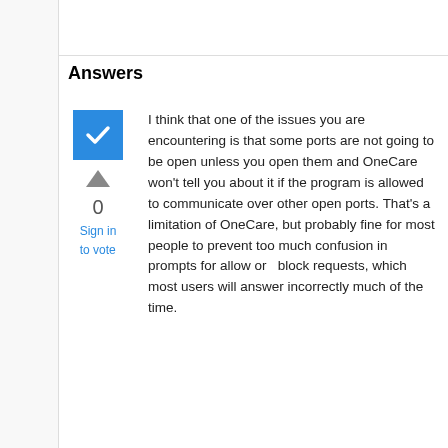Answers
[Figure (other): Blue checkbox with white checkmark, indicating accepted answer]
[Figure (other): Grey upward-pointing triangle arrow for upvoting]
0
Sign in to vote
I think that one of the issues you are encountering is that some ports are not going to be open unless you open them and OneCare won't tell you about it if the program is allowed to communicate over other open ports. That's a limitation of OneCare, but probably fine for most people to prevent too much confusion in prompts for allow or  block requests, which most users will answer incorrectly much of the time.